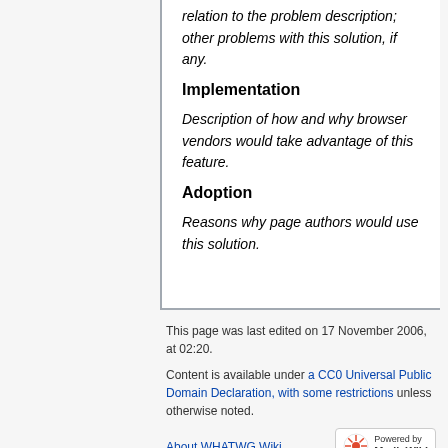relation to the problem description; other problems with this solution, if any.
Implementation
Description of how and why browser vendors would take advantage of this feature.
Adoption
Reasons why page authors would use this solution.
This page was last edited on 17 November 2006, at 02:20. Content is available under a CC0 Universal Public Domain Declaration, with some restrictions unless otherwise noted. About WHATWG Wiki
[Figure (logo): Powered by MediaWiki logo badge]